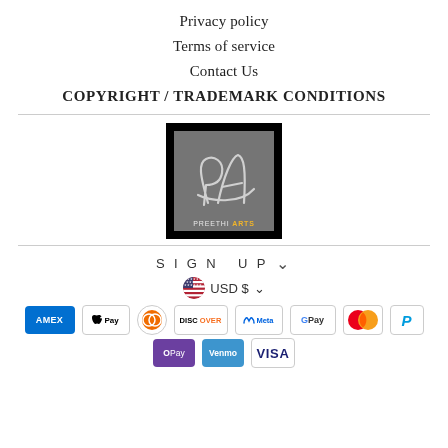Privacy policy
Terms of service
Contact Us
COPYRIGHT / TRADEMARK CONDITIONS
[Figure (logo): Preethi Arts logo: black background with grey inner square containing stylized PA script initials and 'PREETHI ARTS' text at bottom]
SIGN UP
USD $
[Figure (infographic): Payment method icons: American Express, Apple Pay, Diners Club, Discover, Meta Pay, Google Pay, Mastercard, PayPal, OPay, Venmo, Visa]